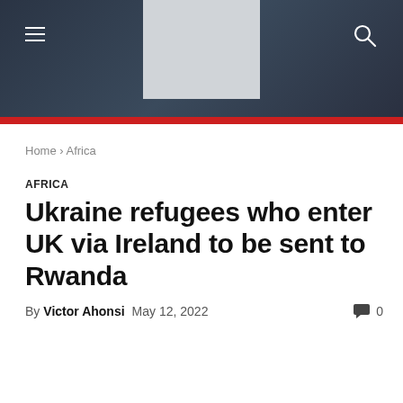≡  [logo]  🔍
Home › Africa
AFRICA
Ukraine refugees who enter UK via Ireland to be sent to Rwanda
By Victor Ahonsi   May 12, 2022   💬 0